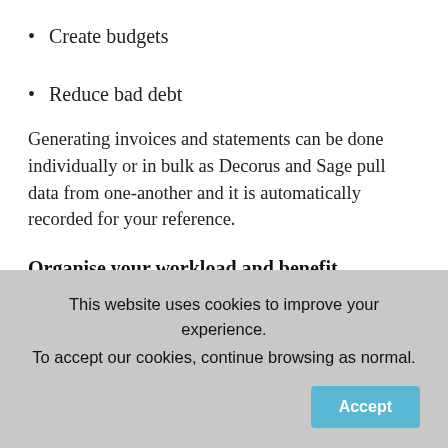Create budgets
Reduce bad debt
Generating invoices and statements can be done individually or in bulk as Decorus and Sage pull data from one-another and it is automatically recorded for your reference.
Organise your workload and benefit
Working in an organised environment is key to success in
This website uses cookies to improve your experience. To accept our cookies, continue browsing as normal.